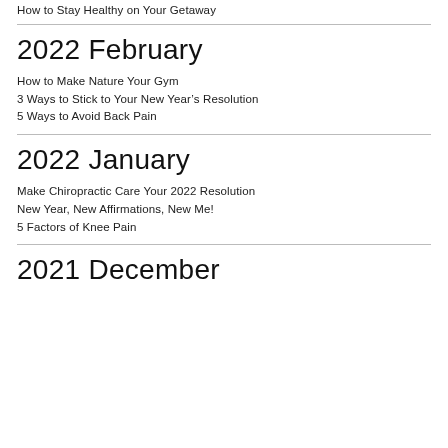How to Stay Healthy on Your Getaway
2022 February
How to Make Nature Your Gym
3 Ways to Stick to Your New Year’s Resolution
5 Ways to Avoid Back Pain
2022 January
Make Chiropractic Care Your 2022 Resolution
New Year, New Affirmations, New Me!
5 Factors of Knee Pain
2021 December